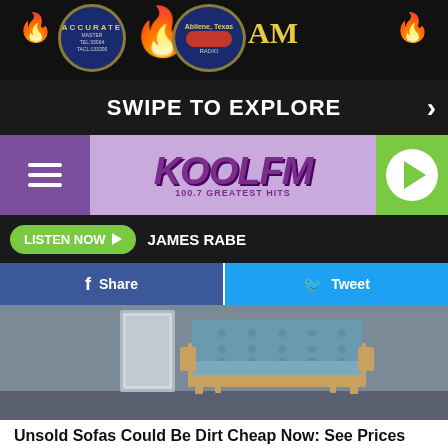[Figure (screenshot): Accurate logo badge and Abilene Texas AM radio logo with flame icons on dark header bar]
SWIPE TO EXPLORE
[Figure (logo): KOOL FM 100.7 Greatest Hits radio station logo on purple/lavender background with hamburger menu and play button]
LISTEN NOW  JAMES RABE
Share
Tweet
[Figure (photo): Blue tufted sofa/bench on wood legs against a grey wall]
Unsold Sofas Could Be Dirt Cheap Now: See Prices
Sofas
Click Here
[Figure (photo): Woman in kitchen, partially visible at bottom of page]